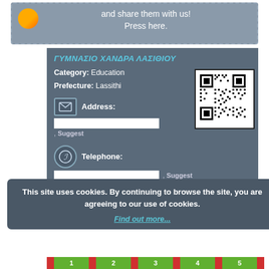and share them with us! Press here.
ΓΥΜΝΑΣΙΟ ΧΑΝΔΡΑ ΛΑΣΙΘΙΟΥ
Category: Education
Prefecture: Lassithi
Address:
, Suggest
[Figure (other): QR code for the school listing]
Telephone:
, Suggest
This site uses cookies. By continuing to browse the site, you are agreeing to our use of cookies.
Find out more...
1  2  3  4  5